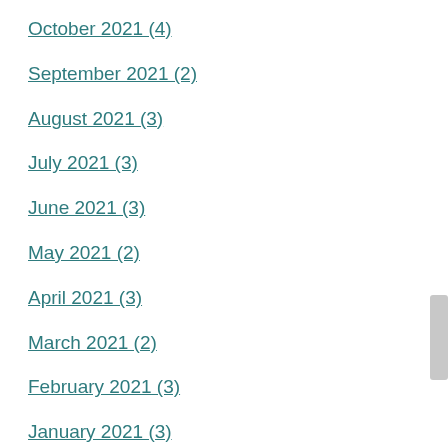October 2021 (4)
September 2021 (2)
August 2021 (3)
July 2021 (3)
June 2021 (3)
May 2021 (2)
April 2021 (3)
March 2021 (2)
February 2021 (3)
January 2021 (3)
December 2020 (2)
November 2020 (3)
October 2020 (3)
September 2020 (3)